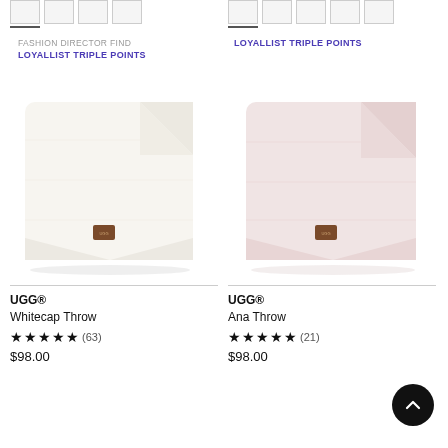[Figure (screenshot): Top thumbnail images for left product with underline indicator]
[Figure (screenshot): Top thumbnail images for right product with underline indicator]
FASHION DIRECTOR FIND
LOYALLIST TRIPLE POINTS
LOYALLIST TRIPLE POINTS
[Figure (photo): UGG Whitecap Throw blanket in white/cream color, folded, with brown UGG leather label]
[Figure (photo): UGG Ana Throw blanket in light pink color, folded, with brown UGG leather label]
UGG®
Whitecap Throw
★★★★★ (63)
$98.00
UGG®
Ana Throw
★★★★★ (21)
$98.00